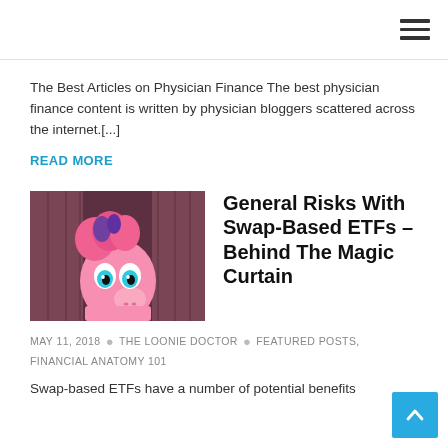The Best Articles on Physician Finance The best physician finance content is written by physician bloggers scattered across the internet.[...]
READ MORE
[Figure (illustration): Cartoon pink pony peeking through wooden curtains, with blue eyes and pink hair with purple highlight]
General Risks With Swap-Based ETFs – Behind The Magic Curtain
MAY 11, 2018 • THE LOONIE DOCTOR • FEATURED POSTS, FINANCIAL ANATOMY 101
Swap-based ETFs have a number of potential benefits